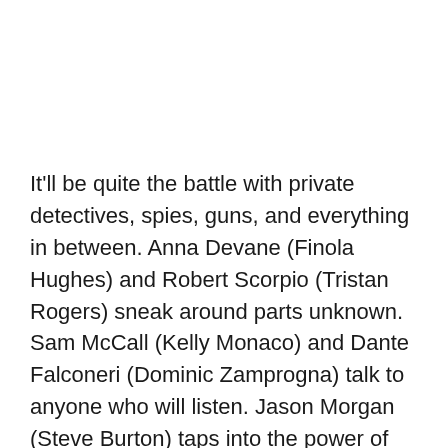It'll be quite the battle with private detectives, spies, guns, and everything in between. Anna Devane (Finola Hughes) and Robert Scorpio (Tristan Rogers) sneak around parts unknown. Sam McCall (Kelly Monaco) and Dante Falconeri (Dominic Zamprogna) talk to anyone who will listen. Jason Morgan (Steve Burton) taps into the power of his mob family. Will all this effort be enough? Will at least one player come home this week? See it all for yourself in the sneak peek video below.